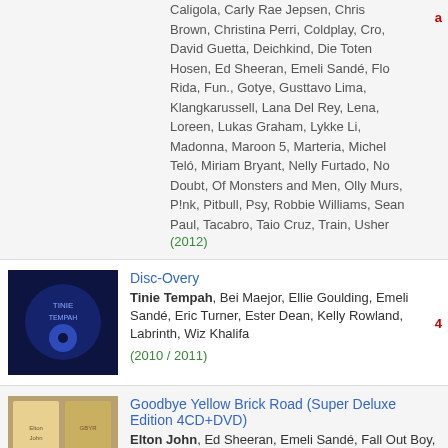Caligola, Carly Rae Jepsen, Chris Brown, Christina Perri, Coldplay, Cro, David Guetta, Deichkind, Die Toten Hosen, Ed Sheeran, Emeli Sandé, Flo Rida, Fun., Gotye, Gusttavo Lima, Klangkarussell, Lana Del Rey, Lena, Loreen, Lukas Graham, Lykke Li, Madonna, Maroon 5, Marteria, Michel Teló, Miriam Bryant, Nelly Furtado, No Doubt, Of Monsters and Men, Olly Murs, P!nk, Pitbull, Psy, Robbie Williams, Sean Paul, Tacabro, Taio Cruz, Train, Usher
(2012)
Disc-Overy
Tinie Tempah, Bei Maejor, Ellie Goulding, Emeli Sandé, Eric Turner, Ester Dean, Kelly Rowland, Labrinth, Wiz Khalifa
(2010 / 2011)
Goodbye Yellow Brick Road (Super Deluxe Edition 4CD+DVD)
Elton John, Ed Sheeran, Emeli Sandé, Fall Out Boy, Hunter Hayes, Imelda May, John Grant, Miguel, The Band Perry, Zac Brown Band
(1973 / 2014)   [ DIGIPACK + DVD + CD ]
Goodbye Yellow Brick Road (Deluxe Edition 2CD)
Elton John, Ed Sheeran, Emeli Sandé, Fall Out Boy, Hunter Hayes, Imelda May, John Grant, Miguel, The Band Perry, Zac Brown Band
(1973 / 2014)   [ DIGIPACK + CD ]